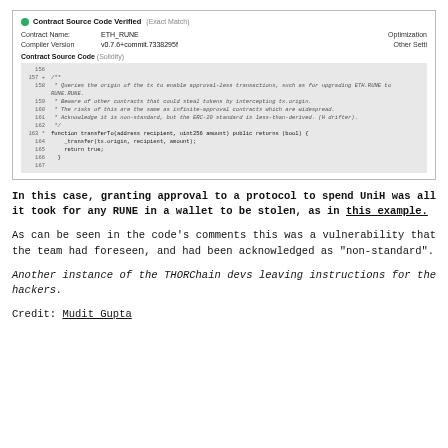[Figure (screenshot): Screenshot of Etherscan contract source code verification page showing contract name ETH_RUNE, compiler version v0.7.6+commit.7338295f, with Solidity source code displayed showing lines 156-167 including a transferTo function with comments about approval-less transactions and non-standard behavior]
In this case, granting approval to a protocol to spend UniH was all it took for any RUNE in a wallet to be stolen, as in this example.
As can be seen in the code’s comments this was a vulnerability that the team had foreseen, and had been acknowledged as “non-standard”.
Another instance of the THORChain devs leaving instructions for the hackers.
Credit: Mudit Gupta